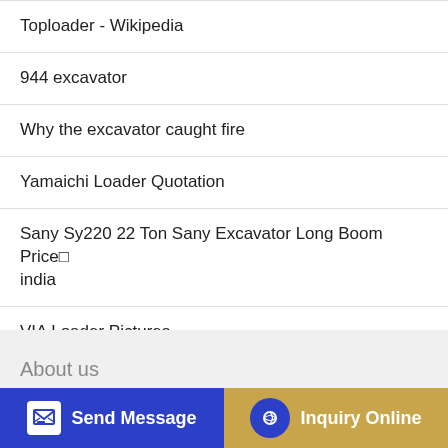Toploader - Wikipedia
944 excavator
Why the excavator caught fire
Yamaichi Loader Quotation
Sany Sy220 22 Ton Sany Excavator Long Boom Price india
VIA Loader Pictures
About us
Talenet Group is a comprehensive high-tech enterprise integrating
engineering trucks,used trucks,brand new trucks, construction